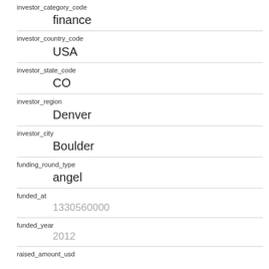| field | value |
| --- | --- |
| investor_category_code | finance |
| investor_country_code | USA |
| investor_state_code | CO |
| investor_region | Denver |
| investor_city | Boulder |
| funding_round_type | angel |
| funded_at | 1330560000 |
| funded_year | 2012 |
| raised_amount_usd |  |
| gristHelper_Display2 | /company/classtivity |